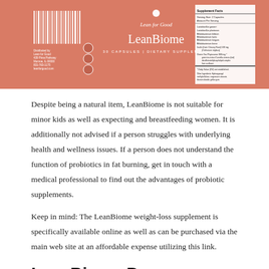[Figure (photo): LeanBiome dietary supplement product label on salmon/terracotta colored packaging showing 'Lean for Good LeanBiome 30 capsules dietary supplement' with nutrition facts and barcode]
Despite being a natural item, LeanBiome is not suitable for minor kids as well as expecting and breastfeeding women. It is additionally not advised if a person struggles with underlying health and wellness issues. If a person does not understand the function of probiotics in fat burning, get in touch with a medical professional to find out the advantages of probiotic supplements.
Keep in mind: The LeanBiome weight-loss supplement is specifically available online as well as can be purchased via the main web site at an affordable expense utilizing this link.
LeanBiome Pros
A simple, natural, as well as rapid means to go down all